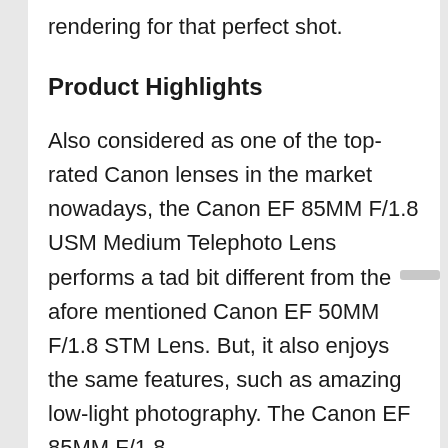rendering for that perfect shot.
Product Highlights
Also considered as one of the top-rated Canon lenses in the market nowadays, the Canon EF 85MM F/1.8 USM Medium Telephoto Lens performs a tad bit different from the afore mentioned Canon EF 50MM F/1.8 STM Lens. But, it also enjoys the same features, such as amazing low-light photography. The Canon EF 85MM F/1.8